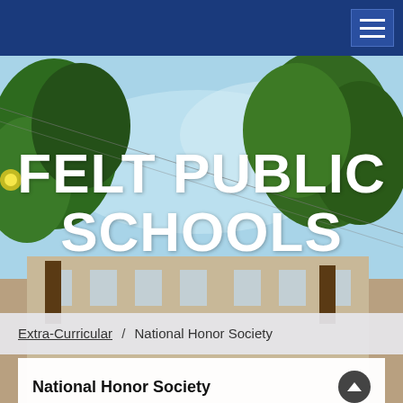[Figure (photo): Outdoor photo showing a school building with large green trees in the foreground against a partly cloudy sky. The hero image serves as a background for the Felt Public Schools website header.]
FELT PUBLIC SCHOOLS
Extra-Curricular / National Honor Society
National Honor Society
All students of Felt High School who are sophomores, juniors, or seniors and have a GPA of 3.3 or higher at the end of the third nine weeks are